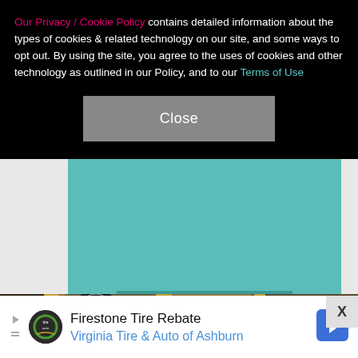Our Privacy / Cookie Policy contains detailed information about the types of cookies & related technology on our site, and some ways to opt out. By using the site, you agree to the uses of cookies and other technology as outlined in our Policy, and to our Terms of Use
[Figure (other): Gray Close button on black cookie consent banner]
[Figure (other): Teal promotional banner with LEARN MORE button]
[Figure (photo): Photo of people at an ornate indoor venue with gold decor, mannequins in elaborate costumes]
[Figure (other): Firestone Tire Rebate advertisement banner for Virginia Tire & Auto of Ashburn]